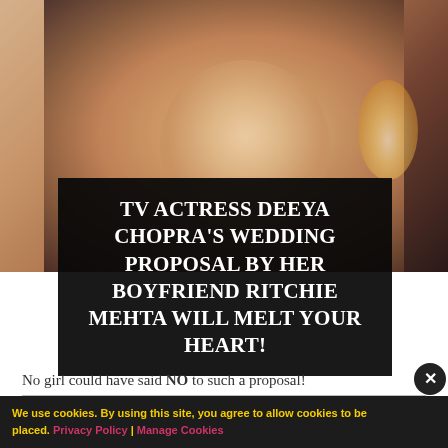[Figure (photo): A couple in a warm-toned romantic photo; a woman smiling, with a man behind her, candlelit background.]
TV ACTRESS DEEYA CHOPRA'S WEDDING PROPOSAL BY HER BOYFRIEND RITCHIE MEHTA WILL MELT YOUR HEART!
No girl could have said NO to such a proposal!
BOLLYWOOD
We use cookies. By using this site, you agree to allow cookies to be placed. Privacy Policy | Manage Cookies